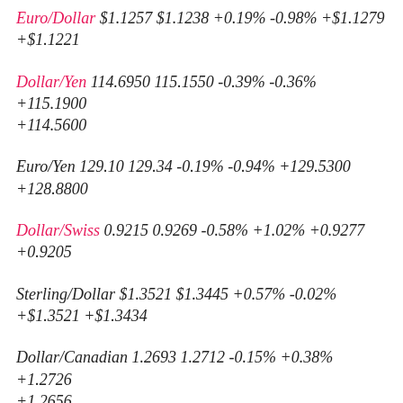Euro/Dollar $1.1257 $1.1238 +0.19% -0.98% +$1.1279 +$1.1221
Dollar/Yen 114.6950 115.1550 -0.39% -0.36% +115.1900 +114.5600
Euro/Yen 129.10 129.34 -0.19% -0.94% +129.5300 +128.8800
Dollar/Swiss 0.9215 0.9269 -0.58% +1.02% +0.9277 +0.9205
Sterling/Dollar $1.3521 $1.3445 +0.57% -0.02% +$1.3521 +$1.3434
Dollar/Canadian 1.2693 1.2712 -0.15% +0.38% +1.2726 +1.2656